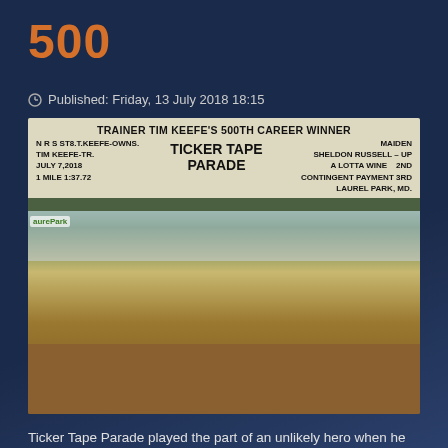500
Published: Friday, 13 July 2018 18:15
[Figure (photo): Winner's circle photo at Laurel Park, MD. A group of people stand with horse #6 (Ticker Tape Parade) and jockey. A winner board reads: TRAINER TIM KEEFE'S 500TH CAREER WINNER. N R S ST8.T.KEEFE-OWNS. MAIDEN SHELDON RUSSELL - UP. TIM KEEFE-TR. TICKER TAPE PARADE A LOTTA WINE 2ND. JULY 7, 2018 CONTINGENT PAYMENT 3RD. 1 MILE 1:37.72 LAUREL PARK, MD.]
Ticker Tape Parade played the part of an unlikely hero when he provided Tim with his 500th career winner Saturday.